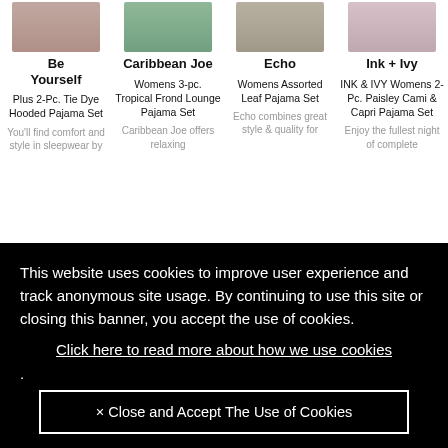[Figure (photo): Product image thumbnails for four pajama sets shown in a 4-column grid at the top of a shopping page]
Be Yourself
Plus 2-Pc. Tie Dye Hooded Pajama Set
You'll find comfort and style in sleepwear by
Caribbean Joe
Womens 3-pc. Tropical Frond Lounge Pajama Set
Caribbean Joe offers relaxing
Echo
Womens Assorted Leaf Pajama Set
Echo combines great style & quality for
Ink + Ivy
INK & IVY Womens 2-Pc. Paisley Cami & Capri Pajama Set
Enjoy the fullest night of complete
This website uses cookies to improve user experience and track anonymous site usage. By continuing to use this site or closing this banner, you accept the use of cookies.
Click here to read more about how we use cookies
.
× Close and Accept The Use of Cookies